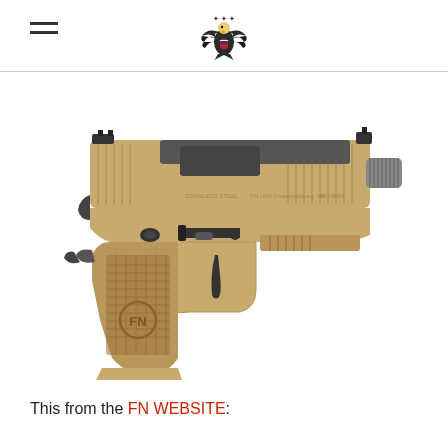[hamburger menu icon] [eagle emblem logo]
[Figure (photo): FN pistol in flat dark earth (FDE) / tan finish, with threaded barrel, shown in profile view on white background. The handgun features a polymer frame with checkered grip, suppressor-height sights, and the FN logo embossed on the grip.]
This from the FN WEBSITE: